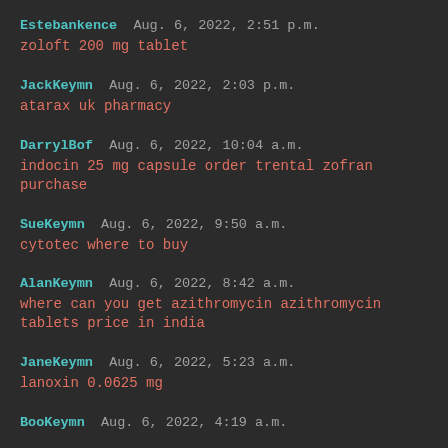Estebankence  Aug. 6, 2022, 2:51 p.m.
zoloft 200 mg tablet
JackKeymn  Aug. 6, 2022, 2:03 p.m.
atarax uk pharmacy
DarrylBof  Aug. 6, 2022, 10:04 a.m.
indocin 25 mg capsule order trental zofran purchase
SueKeymn  Aug. 6, 2022, 9:50 a.m.
cytotec where to buy
AlanKeymn  Aug. 6, 2022, 8:42 a.m.
where can you get azithromycin azithromycin tablets price in india
JaneKeymn  Aug. 6, 2022, 5:23 a.m.
lanoxin 0.0625 mg
BooKeymn  Aug. 6, 2022, 4:19 a.m.